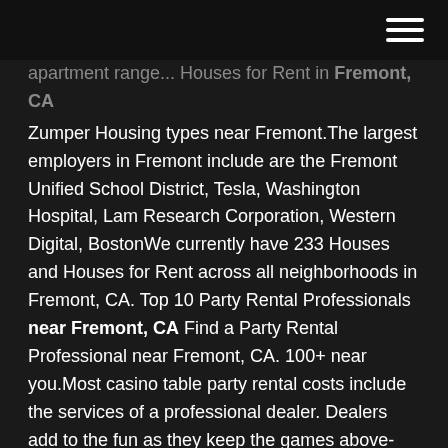[hamburger menu icon]
apartment range... Houses for Rent in Fremont, CA Zumper Housing types near Fremont.The largest employers in Fremont include are the Fremont Unified School District, Tesla, Washington Hospital, Lam Research Corporation, Western Digital, BostonWe currently have 233 Houses and Houses for Rent across all neighborhoods in Fremont, CA. Top 10 Party Rental Professionals near Fremont, CA Find a Party Rental Professional near Fremont, CA. 100+ near you.Most casino table party rental costs include the services of a professional dealer. Dealers add to the fun as they keep the games above-board and also help guests by coaching them when needed. Casinos.us - Every Casino Near Me- Indiana
Top 10 Casinos in Fremont Stu...